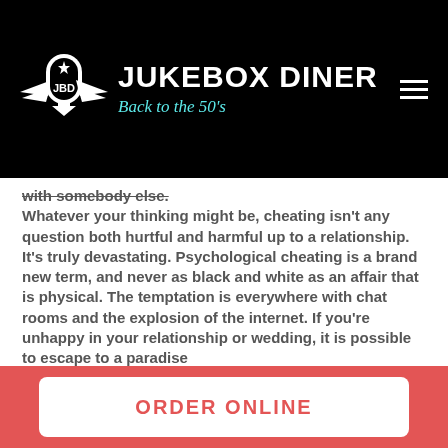Jukebox Diner — Back to the 50's
with somebody else. Whatever your thinking might be, cheating isn't any question both hurtful and harmful up to a relationship. It's truly devastating. Psychological cheating is a brand new term, and never as black and white as an affair that is physical. The temptation is everywhere with chat rooms and the explosion of the internet. If you're unhappy in your relationship or wedding, it is possible to escape to a paradise
ORDER ONLINE